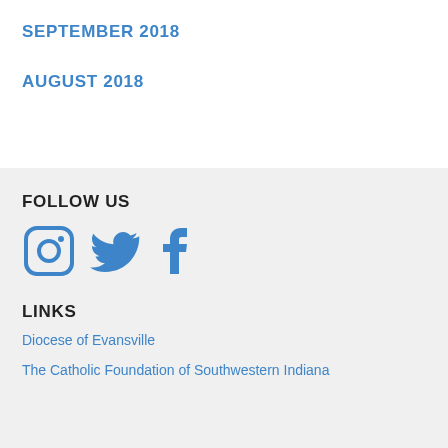SEPTEMBER 2018
AUGUST 2018
FOLLOW US
[Figure (illustration): Social media icons: Instagram, Twitter, Facebook in blue]
LINKS
Diocese of Evansville
The Catholic Foundation of Southwestern Indiana